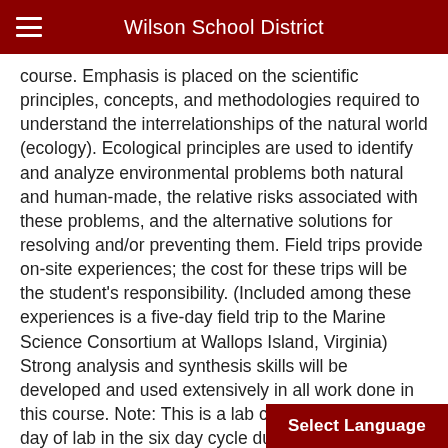Wilson School District
course. Emphasis is placed on the scientific principles, concepts, and methodologies required to understand the interrelationships of the natural world (ecology). Ecological principles are used to identify and analyze environmental problems both natural and human-made, the relative risks associated with these problems, and the alternative solutions for resolving and/or preventing them. Field trips provide on-site experiences; the cost for these trips will be the student's responsibility. (Included among these experiences is a five-day field trip to the Marine Science Consortium at Wallops Island, Virginia) Strong analysis and synthesis skills will be developed and used extensively in all work done in this course. Note: This is a lab course requiring one day of lab in the six day cycle during a d...